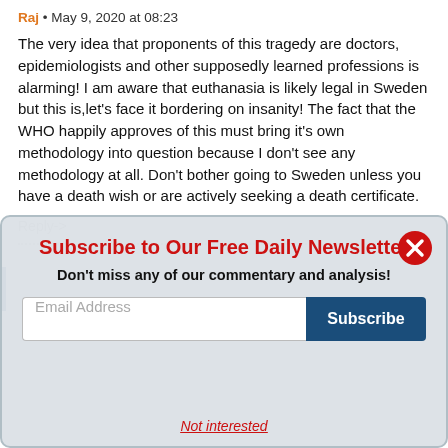Raj • May 9, 2020 at 08:23
The very idea that proponents of this tragedy are doctors, epidemiologists and other supposedly learned professions is alarming! I am aware that euthanasia is likely legal in Sweden but this is,let's face it bordering on insanity! The fact that the WHO happily approves of this must bring it's own methodology into question because I don't see any methodology at all. Don't bother going to Sweden unless you have a death wish or are actively seeking a death certificate.
Reply->
Subscribe to Our Free Daily Newsletter
Don't miss any of our commentary and analysis!
Email Address
Subscribe
Not interested